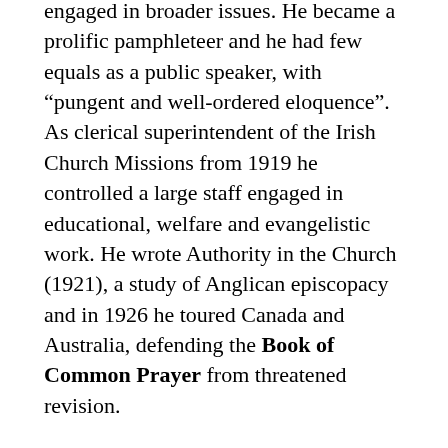engaged in broader issues. He became a prolific pamphleteer and he had few equals as a public speaker, with "pungent and well-ordered eloquence". As clerical superintendent of the Irish Church Missions from 1919 he controlled a large staff engaged in educational, welfare and evangelistic work. He wrote Authority in the Church (1921), a study of Anglican episcopacy and in 1926 he toured Canada and Australia, defending the Book of Common Prayer from threatened revision.
He became involved in the work of Inter Varsity Fellowship and "from this connection came an invitation to write an introductory hand-book of doctrine. In Understanding be Men was the result, an outstanding best-seller.
He was nearly 60 years of age when appointed